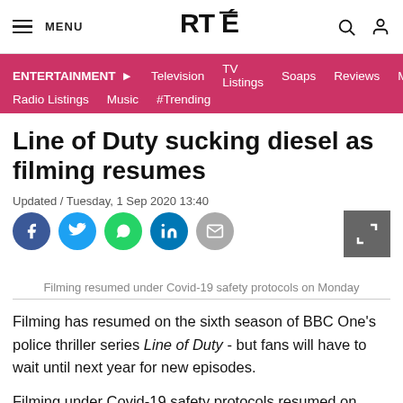MENU | RTÉ | [search] [user]
ENTERTAINMENT ▶ Television TV Listings Soaps Reviews Movies Radio Listings Music #Trending
Line of Duty sucking diesel as filming resumes
Updated / Tuesday, 1 Sep 2020 13:40
Filming resumed under Covid-19 safety protocols on Monday
Filming has resumed on the sixth season of BBC One's police thriller series Line of Duty - but fans will have to wait until next year for new episodes.
Filming under Covid-19 safety protocols resumed on Monday with star Adrian Dunbar (Superintendent...